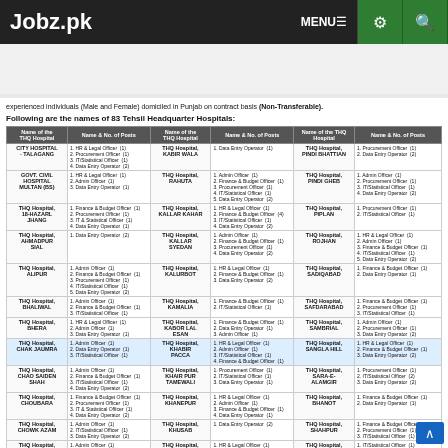Jobz.pk — MENU, settings, search icons
Write search word [Search]
Register | Login
experienced individuals (Male and Female) domiciled in Punjab on contract basis (Non-Transferable).
Following are the names of 83 Tehsil Headquarter Hospitals:
| Name of the THQ Hospital | Name & No. of Posts | Name of the THQ Hospital | Name & No. of Posts | Name of the THQ Hospital | Name & No. of Posts |
| --- | --- | --- | --- | --- | --- |
| CITY HOSPITAL - TALAGANG | 1. HR & Legal Officer (1)
2. Procurement Officer (1)
3. IT/Statistical Officer (1)
4. Data Entry Operator (2) | THQ Hospital, KABIR WALA | 1. Data Entry Operator (1) | THQ Hospital, PINDI BHATTIAN | 1. Procurement Officer (1)
2. Data Entry Operator (2) |
| GOVT. CIVIL HOSPITAL MULTAN (BS) | 1. HR & Legal Officer (1)
2. Admin Officer (1)
3. Data Entry Operator (1) | THQ Hospital, RAHUTA | 1. Admin Officer (1)
2. Finance & Budget Officer (1)
3. Procurement Officer (1)
4. IT/Statistical Officer (1)
5. Data Entry Operator (2) | THQ Hospital, PINDI GHEB | 1. Admin Officer (1)
2. Procurement Officer (1)
3. IT/Statistical Officer (1)
4. Data Entry Operator (2) |
| THQ Hospital, 18-HAZARL JHANG | 1. Finance & Budget Officer (1)
2. Procurement Officer (1)
3. IT & Statistical Officer (1)
4. Data Entry Operator (1) | THQ Hospital, KALLAR KAHAR | 1. HR & Legal Officer (1)
2. Finance & Budget Officer (4)
3. IT/Statistical Officer (1)
4. Data Entry Operator (2) | THQ Hospital, PIPLAN | 1. Procurement Officer (1)
2. IT/Statistical Officer (1) |
| THQ Hospital, AHMADPUR SIAL | 1. Data Entry Operator (2) | THQ Hospital, KALLAR SYEDAN | 1. Admin Officer (1)
2. Finance & Budget Officer (1)
3. Procurement Officer (1)
4. Data Entry Operator (2) | THQ Hospital, ROJHAN | 1. HR & Legal Officer (1)
2. Admin Officer (1)
3. Finance & Budget Officer (1)
4. IT/Statistical Officer (1)
5. Data Entry Operator (2) |
| THQ Hospital, ALIPUR | 1. Admin Officer (1)
2. Finance & Budget Officer (1)
3. Procurement Officer (1)
4. IT/Statistical Officer (1)
5. Data Entry Operator (2) | THQ Hospital, KALURBOT | 1. HR & Legal Officer (1)
2. Finance & Budget Officer (1)
3. Data Entry Operator (2) | THQ Hospital, SADIQABAD | 1. Finance & Budget Officer (1)
2. Data Entry Operator (1) |
| THQ Hospital, BHALIWAL | 1. Admin Officer (1)
2. Finance & Budget Officer (1)
3. IT/Statistical Officer (1) | THQ Hospital, KAMALIA | 1. Finance & Budget Officer (1)
2. IT/Statistical Officer (1) | THQ Hospital, SAFDARABAD | 1. Finance & Budget Officer (1)
2. Procurement Officer (1)
3. IT/Statistical Officer (1) |
| THQ Hospital, BHERA | 1. HR & Legal Officer (1)
2. Admin Officer (1)
3. Data Entry Operator (1) | THQ Hospital, KABOR LAL ESAN | 1. Finance & Budget Officer (1)
2. Data Entry Operator (1)
3. Admin Officer (1) | THQ Hospital, SAMBRIAL | 1. Admin Officer (1)
2. Procurement Officer (1)
3. Data Entry Operator (2) |
| THQ Hospital, CHAK JAUMRA | 1. Admin Officer (1)
2. Data Entry Operator (1)
3. IT/Statistical Officer (1) | THQ Hospital, KHABIR PACCA | 1. HR & Legal Officer (1)
2. Admin Officer (1)
3. IT/Statistical Officer (1)
4. Finance & Budget Officer (1) | THQ Hospital, SANGLA HILL | 1. HR & Legal Officer (1)
2. Finance & Budget Officer (1)
3. Data Entry Operator (2) |
| THQ Hospital, CHAO SAIDEN SHAH | 1. Admin Officer (1)
2. Finance & Budget Officer (1)
3. IT/Statistical Officer (1)
4. Data Entry Operator (2) | THQ Hospital, KHAIR PUR TAMEWALI | 1. Procurement Officer (1)
2. IT/Statistical Officer (1)
3. Data Entry Operator (1) | THQ Hospital, SARA-E-ALAMGIR | 1. Procurement Officer (1)
2. IT/Statistical Officer (2)
3. Data Entry Operator (2) |
| THQ Hospital, CHOUBARA | 1. Finance & Budget Officer (1)
2. Procurement Officer (1)
3. IT & Statistical Officer (1)
4. Data Entry Operator (2) | THQ Hospital, KHANEPUR | 1. HR & Legal Officer (1)
2. Admin Officer (1)
3. Finance & Budget Officer (1)
4. Data Entry Operator (1) | THQ Hospital, BHANOT | 1. Finance & Budget Officer (1)
2. Data Entry Operator (1) |
| THQ Hospital, CHOWK AZAM | 1. Admin Officer (1)
2. IT/Statistical Officer (1)
3. Data Entry Operator (2) | THQ Hospital, KHUSAB | 1. Data Entry Operator (2) | THQ Hospital, SHAHPUR | 1. Finance & Budget Officer (1)
2. Procurement Officer (1)
3. IT/Statistical Officer (1) |
| THQ Hospital, CHUNAR | 1. Admin Officer (1)
2. Finance & Budget Officer (1)
3. IT/Statistical Officer (1) | THQ Hospital, KHUSAB | 1. HR & Legal Officer (1)
2. Finance & Budget Officer (1)
3. IT/Statistical Officer (1)
4. Data Entry Operator (1) | THQ Hospital, SHAKARGARH | 1. IT/Statistical Officer (1)
2. Data Entry Operator (2) |
| THQ Hospital, DARYA KANAR | 1. Admin Officer (1)
2. Data Entry Operator (1) | THQ Hospital, KOT MOMEN | 1. HR & Legal Officer (1)
2. Admin Officer (1)
3. Finance & Budget Officer (1)
4. Data Entry Operator (1) | THQ Hospital, SHARADPUR SHARIF | 1. Admin Officer (1)
2. Finance & Budget Officer (1) |